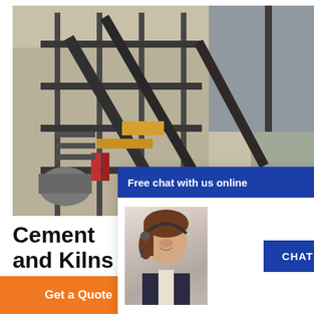[Figure (photo): Industrial cement plant photo showing metal scaffolding, conveyor belts, and equipment against a rocky background]
Cement and Kilns in Britain and Irelan...
As with coal, but more so in the case of oil, the ce... uses fuels at the ... The oil grade most commonly ... (API No 6) oil, which is the main ... purposes, whe...
[Figure (screenshot): Free chat popup overlay with blue header 'Free chat with us online', close button X, image of female customer service agent with headset, and blue CHAT NOW button]
[Figure (screenshot): 24/7 Online panel with teal background, close button, photo of person with headset, 'Have any requests, click here.' text, and Quotation button]
Get a Quote
WhatsApp